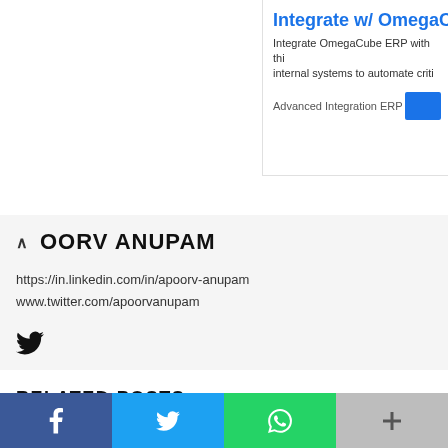[Figure (screenshot): Partial advertisement banner for OmegaCube ERP integration, showing title 'Integrate w/ OmegaCu...', body text about integrating OmegaCube ERP with internal systems, 'Advanced Integration ERP' label, and a blue button.]
APOORV ANUPAM
https://in.linkedin.com/in/apoorv-anupam
www.twitter.com/apoorvanupam
[Figure (illustration): Twitter bird icon (social media icon)]
RELATED POSTS
[Figure (photo): Partial thumbnail image of a person (head and shoulders visible) on a light background, left side of related posts row.]
[Figure (illustration): Blue rectangle thumbnail placeholder, right side of related posts row.]
[Figure (infographic): Social share bar at the bottom with four buttons: Facebook (dark blue, f icon), Twitter (light blue, bird icon), WhatsApp (green, phone icon), More (grey, plus icon).]